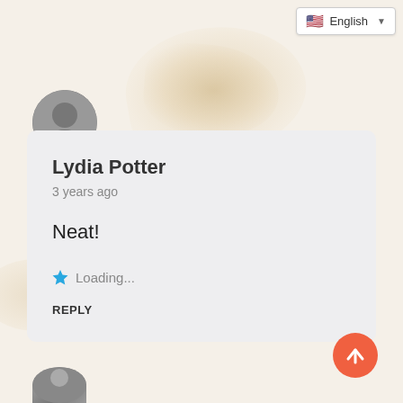[Figure (screenshot): Language selector dropdown showing English with US flag]
[Figure (photo): Round avatar photo of a person, grayscale]
Lydia Potter
3 years ago
Neat!
★ Loading...
REPLY
[Figure (photo): Partial avatar of another user at bottom of page]
[Figure (illustration): Orange scroll-to-top button with upward arrow]